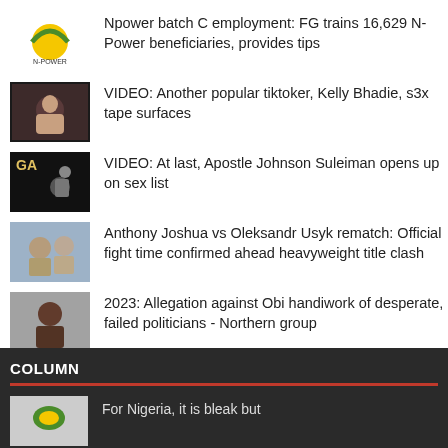Npower batch C employment: FG trains 16,629 N-Power beneficiaries, provides tips
VIDEO: Another popular tiktoker, Kelly Bhadie, s3x tape surfaces
VIDEO: At last, Apostle Johnson Suleiman opens up on sex list
Anthony Joshua vs Oleksandr Usyk rematch: Official fight time confirmed ahead heavyweight title clash
2023: Allegation against Obi handiwork of desperate, failed politicians - Northern group
COLUMN
For Nigeria, it is bleak but